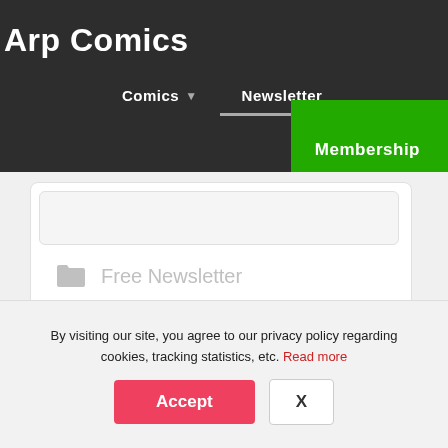Arp Comics
Comics  Newsletter  Membership
Free Newsletter
[Figure (screenshot): Blurred/gradient banner image with text 'STRIPPED']
By visiting our site, you agree to our privacy policy regarding cookies, tracking statistics, etc. Read more
Accept  X